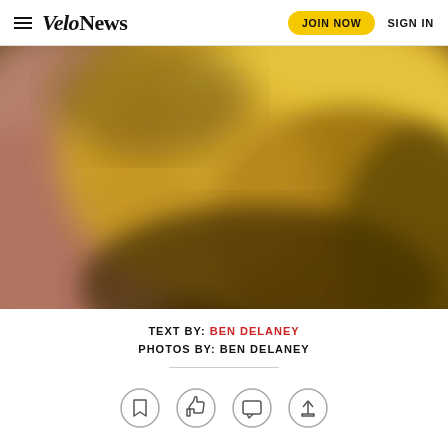VeloNews | JOIN NOW | SIGN IN
[Figure (photo): Blurred close-up hero image with warm golden/amber tones on right side and pinkish/flesh tones on left side, appears to be a macro or out-of-focus photograph related to cycling]
TEXT BY: BEN DELANEY
PHOTOS BY: BEN DELANEY
[Figure (other): Four social sharing icon buttons in circles: bookmark, thumbs up/like, comment, and share/upload]